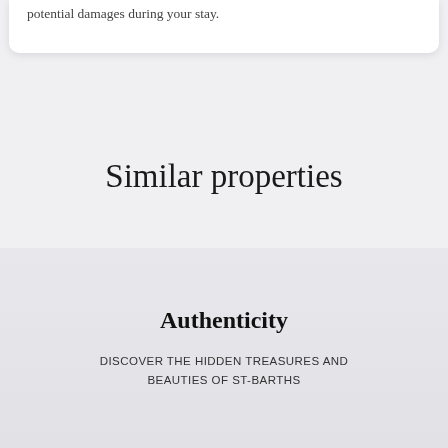potential damages during your stay.
Similar properties
Authenticity
DISCOVER THE HIDDEN TREASURES AND BEAUTIES OF ST-BARTHS